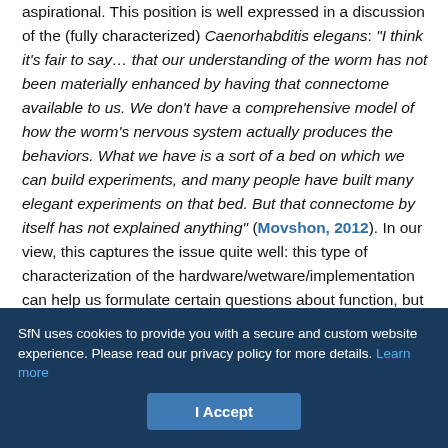aspirational. This position is well expressed in a discussion of the (fully characterized) Caenorhabditis elegans: "I think it's fair to say… that our understanding of the worm has not been materially enhanced by having that connectome available to us. We don't have a comprehensive model of how the worm's nervous system actually produces the behaviors. What we have is a sort of a bed on which we can build experiments, and many people have built many elegant experiments on that bed. But that connectome by itself has not explained anything" (Movshon, 2012). In our view, this captures the issue quite well: this type of characterization of the hardware/wetware/implementation can help us formulate certain questions about function, but without those functional hypotheses clearly in our sights, it is unclear how to derive the computational infrastructure of the brain from even highly detailed structural
SfN uses cookies to provide you with a secure and custom website experience. Please read our privacy policy for more details. Learn more